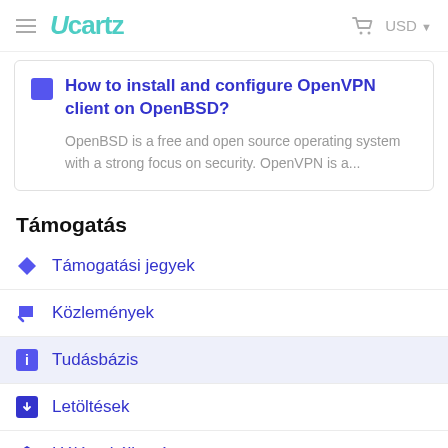Ucartz — USD
How to install and configure OpenVPN client on OpenBSD?
OpenBSD is a free and open source operating system with a strong focus on security. OpenVPN is a...
Támogatás
Támogatási jegyek
Közlemények
Tudásbázis
Letöltések
Hálózati állomás